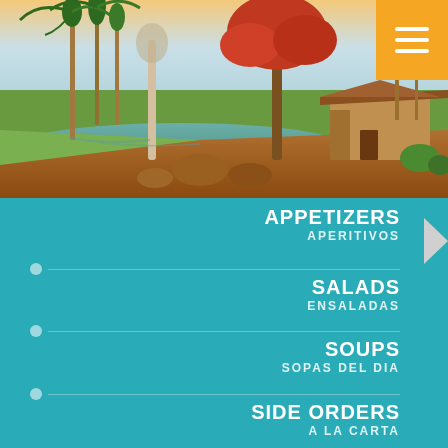[Figure (illustration): Tropical Cuban landscape painting showing palm trees, a flame tree with red blossoms, a thatched-roof cottage, a river with rocks, and lush green fields under a pastel sky.]
APPETIZERS
APERITIVOS
SALADS
ENSALADAS
SOUPS
SOPAS DEL DIA
SIDE ORDERS
A LA CARTA